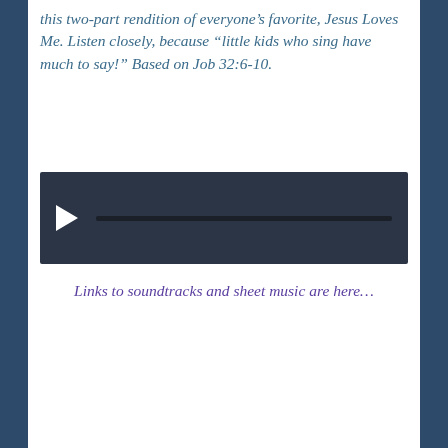this two-part rendition of everyone's favorite, Jesus Loves Me. Listen closely, because "little kids who sing have much to say!" Based on Job 32:6-10.
[Figure (other): Audio player widget with dark background, play button triangle on left, and a progress bar track.]
Links to soundtracks and sheet music are here…